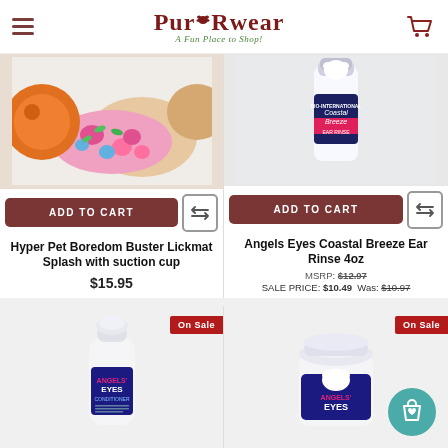[Figure (logo): PupRwear logo with paw prints and tagline 'A Fun Place to Shop!']
[Figure (photo): Dog wearing floral bandana holding orange toy - Hyper Pet Boredom Buster Lickmat Splash product image]
ADD TO CART
Hyper Pet Boredom Buster Lickmat Splash with suction cup
$15.95
[Figure (photo): Angels Eyes Coastal Breeze Ear Rinse 4oz bottle product image]
ADD TO CART
Angels Eyes Coastal Breeze Ear Rinse 4oz
MSRP: $12.97
SALE PRICE: $10.49  Was: $10.97
[Figure (photo): Angels Eyes conditioner bottle - On Sale badge]
[Figure (photo): Angels Eyes supplement jar - On Sale badge with teal wishlist button]